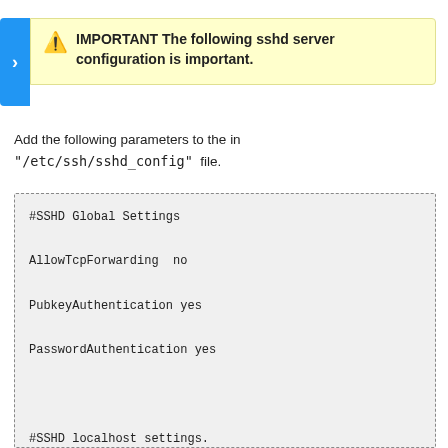IMPORTANT The following sshd server configuration is important.
Add the following parameters to the in "/etc/ssh/sshd_config" file.
#SSHD Global Settings

AllowTcpForwarding  no

PubkeyAuthentication yes

PasswordAuthentication yes



#SSHD localhost settings.

Match Address 127.0.0.1